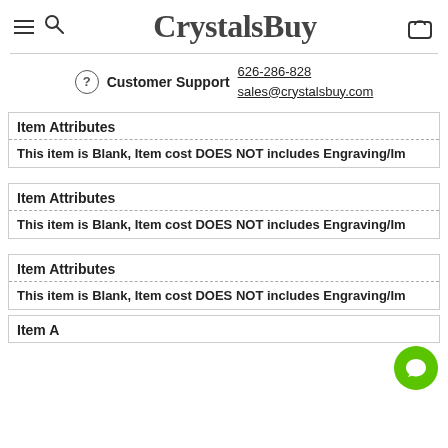CrystalsBuy
Customer Support 626-286-828 sales@crystalsbuy.com
| Item Attributes |
| --- |
| This item is Blank, Item cost DOES NOT includes Engraving/Im |
| Item Attributes |
| --- |
| This item is Blank, Item cost DOES NOT includes Engraving/Im |
| Item Attributes |
| --- |
| This item is Blank, Item cost DOES NOT includes Engraving/Im |
| Item Attributes |
| --- |
|  |